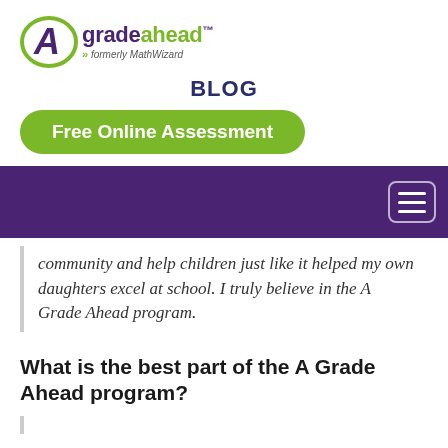[Figure (logo): A Grade Ahead logo with green oval A icon, purple text reading 'gradeahead' with trademark symbol, tagline 'formerly MathWizard']
BLOG
Free Online Assessment
[Figure (screenshot): Purple navigation bar with hamburger menu icon in top right]
community and help children just like it helped my own daughters excel at school. I truly believe in the A Grade Ahead program.
What is the best part of the A Grade Ahead program?